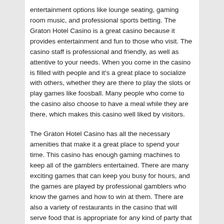entertainment options like lounge seating, gaming room music, and professional sports betting. The Graton Hotel Casino is a great casino because it provides entertainment and fun to those who visit. The casino staff is professional and friendly, as well as attentive to your needs. When you come in the casino is filled with people and it's a great place to socialize with others, whether they are there to play the slots or play games like foosball. Many people who come to the casino also choose to have a meal while they are there, which makes this casino well liked by visitors.
The Graton Hotel Casino has all the necessary amenities that make it a great place to spend your time. This casino has enough gaming machines to keep all of the gamblers entertained. There are many exciting games that can keep you busy for hours, and the games are played by professional gamblers who know the games and how to win at them. There are also a variety of restaurants in the casino that will serve food that is appropriate for any kind of party that you may have.